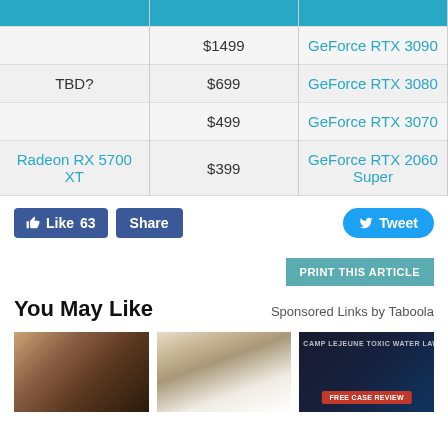|  |  |  |
| --- | --- | --- |
|  | $1499 | GeForce RTX 3090 |
| TBD? | $699 | GeForce RTX 3080 |
|  | $499 | GeForce RTX 3070 |
| Radeon RX 5700 XT | $399 | GeForce RTX 2060 Super |
Like 63  Share  Tweet
[Figure (other): Print This Article button]
You May Like  Sponsored Links by Taboola
[Figure (photo): Three advertisement thumbnails: woman at laptop, outdoor security camera, Camp Lejeune toxic water lawsuit ad]